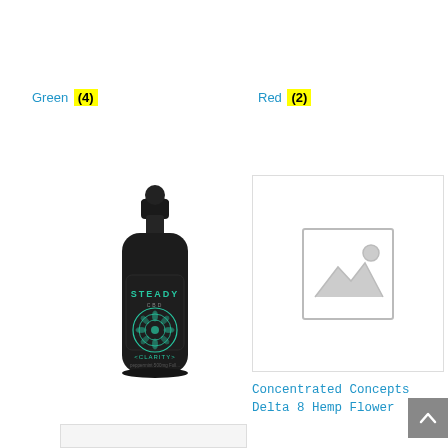Green (4)
Red (2)
[Figure (photo): Dark bottle of Steady CBD Clarity tincture with dropper cap and teal mandala design label]
[Figure (photo): Placeholder image for product with no photo available]
Concentrated Concepts Delta 8 Hemp Flower